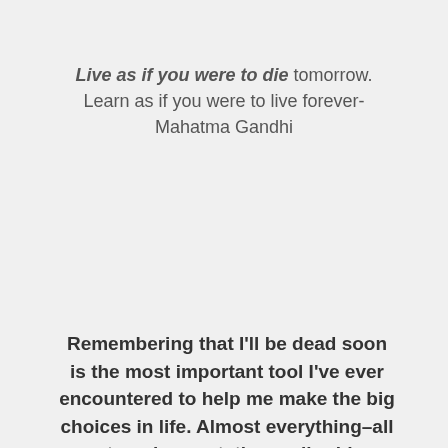Live as if you were to die tomorrow. Learn as if you were to live forever- Mahatma Gandhi
Remembering that I'll be dead soon is the most important tool I've ever encountered to help me make the big choices in life. Almost everything–all external expectations, all pride,